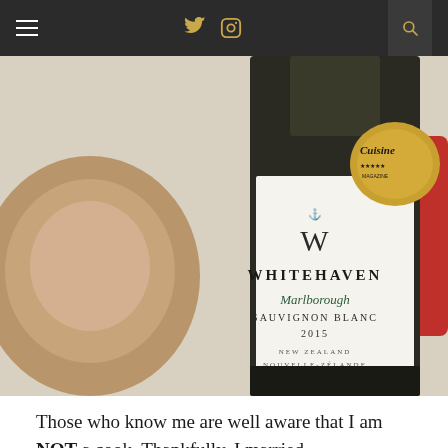Navigation bar with hamburger menu, Twitter, Instagram, and search icons
[Figure (photo): A bottle of Whitehaven Marlborough Sauvignon Blanc 2015 wine from New Zealand / Nouvelle-Zélande, with a Cuisine Magazine five-star gold seal award sticker, set on a white surface next to a wooden bowl.]
Those who know me are well aware that I am NOT a cook. Thankfully, I married